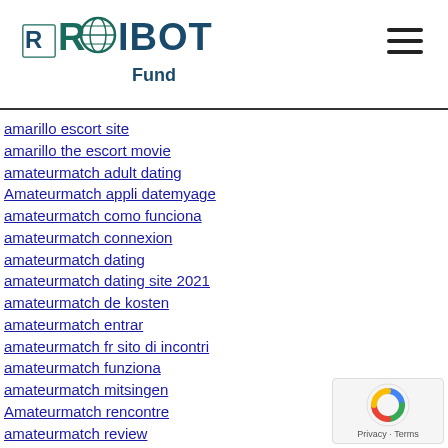ROIBOT Fund
amarillo escort site
amarillo the escort movie
amateurmatch adult dating
Amateurmatch appli datemyage
amateurmatch como funciona
amateurmatch connexion
amateurmatch dating
amateurmatch dating site 2021
amateurmatch de kosten
amateurmatch entrar
amateurmatch fr sito di incontri
amateurmatch funziona
amateurmatch mitsingen
Amateurmatch rencontre
amateurmatch review
amateurmatch status aktywnosci
amateurmatch visitors
amateurmatch vivere
Amateurmatch web
amateurmatch-inceleme visitors
america advance payday loans
america cash pay day loan
america-chat-rooms mobile site
america-dating review